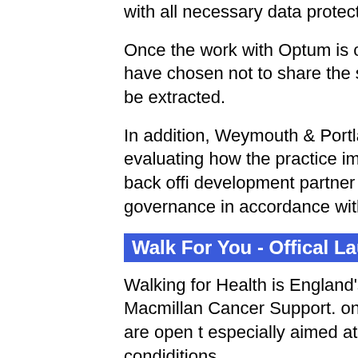with all necessary data protection laws.
Once the work with Optum is complete, the Patients who have chosen not to share the source and their data will not be extracted.
In addition, Weymouth & Portland GPs are observing and evaluating how the practice improvement for both clinical and back offi development partner with NHS England ar governance in accordance with all applicab with all contracts.
Walk For You - Offical Launch Frida
Walking for Health is England's largest net Ramblers and Macmillan Cancer Support. one gets left behind.  The walks are open t especially aimed at those who are least ac condiditions.
Pop along to the offical launch on Friday 2